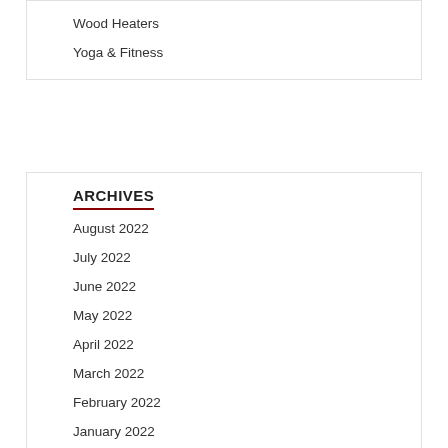Wood Heaters
Yoga & Fitness
ARCHIVES
August 2022
July 2022
June 2022
May 2022
April 2022
March 2022
February 2022
January 2022